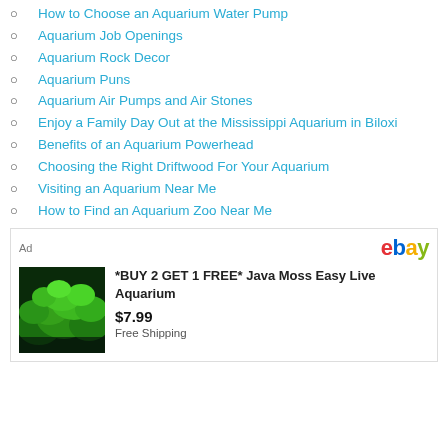How to Choose an Aquarium Water Pump
Aquarium Job Openings
Aquarium Rock Decor
Aquarium Puns
Aquarium Air Pumps and Air Stones
Enjoy a Family Day Out at the Mississippi Aquarium in Biloxi
Benefits of an Aquarium Powerhead
Choosing the Right Driftwood For Your Aquarium
Visiting an Aquarium Near Me
How to Find an Aquarium Zoo Near Me
[Figure (advertisement): eBay advertisement for *BUY 2 GET 1 FREE* Java Moss Easy Live Aquarium, $7.99, Free Shipping, with photo of green aquarium moss]